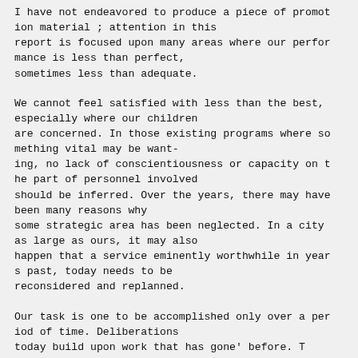I have not endeavored to produce a piece of promotion material ; attention in this report is focused upon many areas where our performance is less than perfect, sometimes less than adequate.
We cannot feel satisfied with less than the best, especially where our children are concerned. In those existing programs where something vital may be wanting, no lack of conscientiousness or capacity on the part of personnel involved should be inferred. Over the years, there may have been many reasons why some strategic area has been neglected. In a city as large as ours, it may also happen that a service eminently worthwhile in years past, today needs to be reconsidered and replanned.
Our task is one to be accomplished only over a period of time. Deliberations today build upon work that has gone' before. This report is related to earlier studies ; and a number of important matters are on